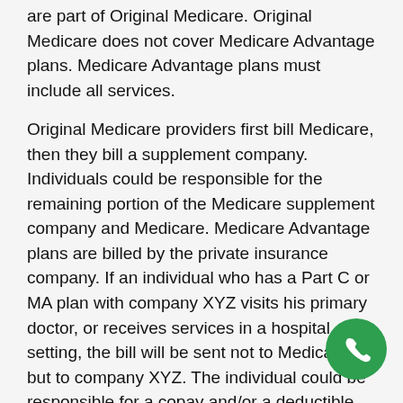are part of Original Medicare. Original Medicare does not cover Medicare Advantage plans. Medicare Advantage plans must include all services.
Original Medicare providers first bill Medicare, then they bill a supplement company. Individuals could be responsible for the remaining portion of the Medicare supplement company and Medicare. Medicare Advantage plans are billed by the private insurance company. If an individual who has a Part C or MA plan with company XYZ visits his primary doctor, or receives services in a hospital setting, the bill will be sent not to Medicare but to company XYZ. The individual could be responsible for a copay and/or a deductible.
Medicare Advantage plans can sometimes be “all in one” plans, as they include other coverages. Part D also can include the prescription drug